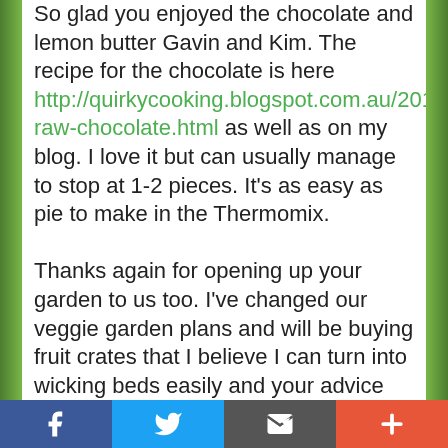So glad you enjoyed the chocolate and lemon butter Gavin and Kim. The recipe for the chocolate is here http://quirkycooking.blogspot.com.au/2010/11/almo raw-chocolate.html as well as on my blog. I love it but can usually manage to stop at 1-2 pieces. It's as easy as pie to make in the Thermomix.
Thanks again for opening up your garden to us too. I've changed our veggie garden plans and will be buying fruit crates that I believe I can turn into wicking beds easily and your advice on treating scaly leg mite came in handy with my 3 pekin bantams getting their pedi yesterday.
Looking forward to another catch up once
Facebook | Twitter | Email | +